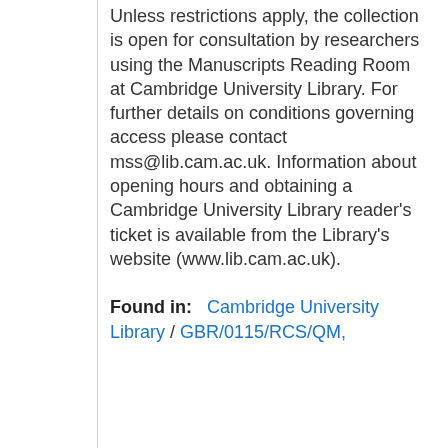Unless restrictions apply, the collection is open for consultation by researchers using the Manuscripts Reading Room at Cambridge University Library. For further details on conditions governing access please contact mss@lib.cam.ac.uk. Information about opening hours and obtaining a Cambridge University Library reader's ticket is available from the Library's website (www.lib.cam.ac.uk).
Found in:  Cambridge University Library / GBR/0115/RCS/QM,